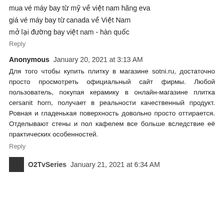mua vé máy bay từ mỹ về việt nam hãng eva
giá vé máy bay từ canada về Việt Nam
mở lại đường bay việt nam - hàn quốc
Reply
Anonymous  January 20, 2021 at 3:13 AM
Для того чтобы купить плитку в магазине sotni.ru, достаточно просто просмотреть официальный сайт фирмы. Любой пользователь, покупая керамику в онлайн-магазине плитка cersanit horn, получает в реальности качественный продукт. Ровная и гладенькая поверхность довольно просто оттирается. Отделывают стены и пол кафелем все больше вследствие её практических особенностей.
Reply
O2TvSeries  January 21, 2021 at 6:34 AM